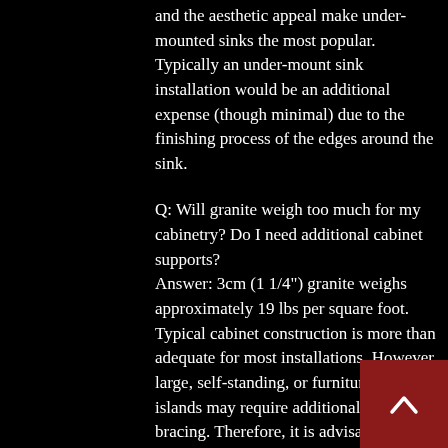and the aesthetic appeal make under-mounted sinks the most popular. Typically an under-mount sink installation would be an additional expense (though minimal) due to the finishing process of the edges around the sink.
Q: Will granite weigh too much for my cabinetry? Do I need additional cabinet supports? Answer: 3cm (1 1/4") granite weighs approximately 19 lbs per square foot. Typical cabinet construction is more than adequate for most installations. However, large, self-standing, or furniture-style islands may require additional corner bracing. Therefore, it is advisable to let your cabinet installer know that you using granite to ensure proper supp...
[Figure (other): Dark red scroll-to-top button with upward chevron arrow, positioned bottom-right corner]